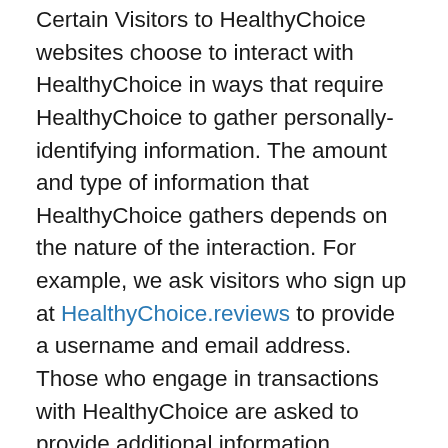Certain Visitors to HealthyChoice websites choose to interact with HealthyChoice in ways that require HealthyChoice to gather personally-identifying information. The amount and type of information that HealthyChoice gathers depends on the nature of the interaction. For example, we ask visitors who sign up at HealthyChoice.reviews to provide a username and email address. Those who engage in transactions with HealthyChoice are asked to provide additional information, including as necessary the personal and financial information required to process those transactions. In each case, HealthyChoice collects such information only insofar as is necessary or appropriate to fulfill the purpose of the visitor's interaction with HealthyChoice. HealthyChoice does not disclose personally-identifying information other than as described below. And visitors can always refuse to supply